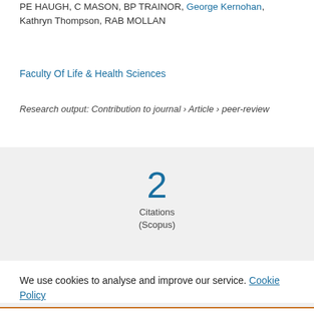PE HAUGH, C MASON, BP TRAINOR, George Kernohan, Kathryn Thompson, RAB MOLLAN
Faculty Of Life & Health Sciences
Research output: Contribution to journal › Article › peer-review
[Figure (infographic): Citation count: 2 Citations (Scopus)]
[Figure (logo): Altmetric logo - asterisk/snowflake shape with orange, purple circles]
We use cookies to analyse and improve our service. Cookie Policy